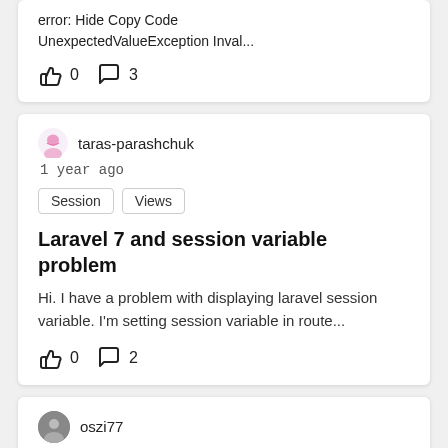error: Hide Copy Code
UnexpectedValueException Inval...
👍 0  💬 3
taras-parashchuk
1 year ago
Session  Views
Laravel 7 and session variable problem
Hi. I have a problem with displaying laravel session variable. I'm setting session variable in route...
👍 0  💬 2
oszi77